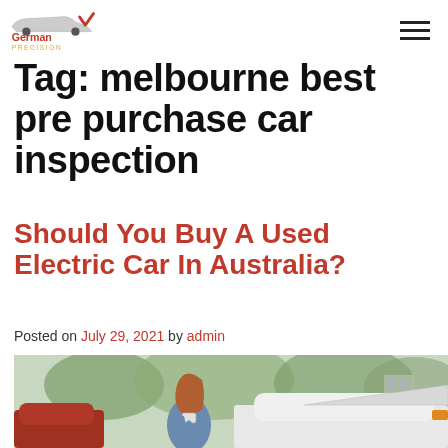German Precision logo and navigation
Tag: melbourne best pre purchase car inspection
Should You Buy A Used Electric Car In Australia?
Posted on July 29, 2021 by admin
[Figure (photo): Woman in denim jacket looking at her phone while standing next to a white electric car with its hood open, in an outdoor parking area with trees in the background.]